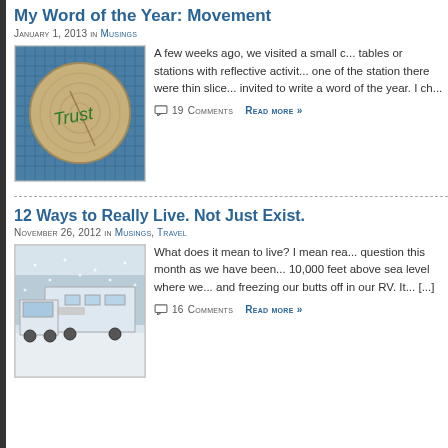My Word of the Year: Movement
January 1, 2013 in Musings
[Figure (photo): A round slice of wood with the word 'Trust' written in green marker, placed on a blue mesh/fabric background.]
A few weeks ago, we visited a small c... tables or stations with reflective activit... one of the station there were thin slice... invited to write a word of the year. I ch...
19 Comments   Read more »
12 Ways to Really Live. Not Just Exist.
November 26, 2012 in Musings, Travel
[Figure (photo): A white truck towing a large RV/fifth-wheel trailer in snowy winter conditions, trees visible in background.]
What does it mean to live? I mean rea... question this month as we have been... 10,000 feet above sea level where we... and freezing our butts off in our RV.  It... [...]
16 Comments   Read more »